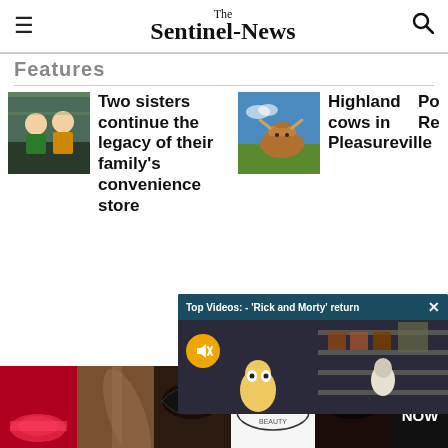The Sentinel-News
Features
Two sisters continue the legacy of their family's convenience store
Highland cows in Pleasureville
Po Re
[Figure (screenshot): Top Videos: - 'Rick and Morty' return video overlay popup with mute button and close button]
Stocks
[Figure (screenshot): Ulta Beauty advertisement banner with makeup imagery and SHOP NOW call to action]